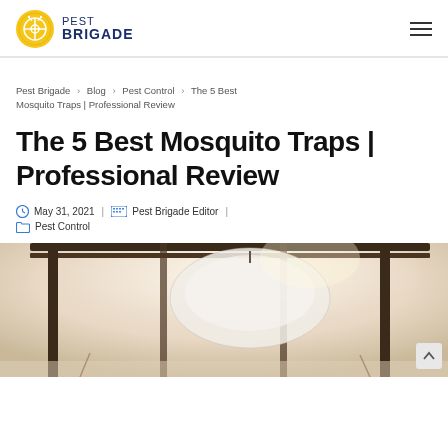PEST BRIGADE
Pest Brigade › Blog › Pest Control › The 5 Best Mosquito Traps | Professional Review
The 5 Best Mosquito Traps | Professional Review
May 31, 2021 | Pest Brigade Editor | Pest Control
[Figure (photo): Outdoor mosquito trap hanging under a pergola or shelter, backlit by sunlight, with white netting visible]